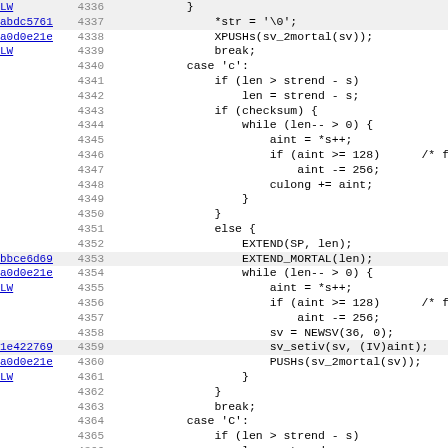[Figure (screenshot): Source code viewer showing lines 4336-4368 of C/Perl code with line numbers, optional commit hash addresses (linked), and syntax. Lines include code for string null-termination, XPUSHs, break, case statements, checksum logic with while loops, aint operations, EXTEND, EXTEND_MORTAL, NEWSV, sv_setiv, PUSHs calls.]